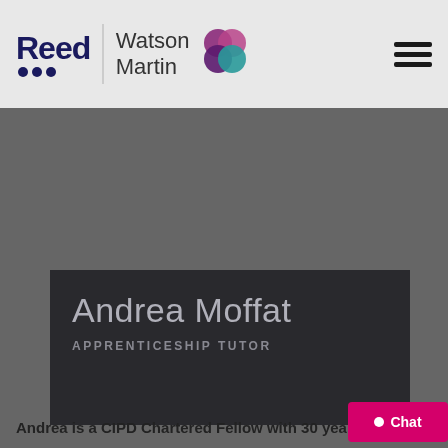[Figure (logo): Reed Watson Martin combined logo with hamburger menu navigation icon in header bar]
[Figure (photo): Profile photo placeholder – dark grey background for Andrea Moffat]
Andrea Moffat
APPRENTICESHIP TUTOR
Andrea is a CIPD Chartered Fellow with 30 years